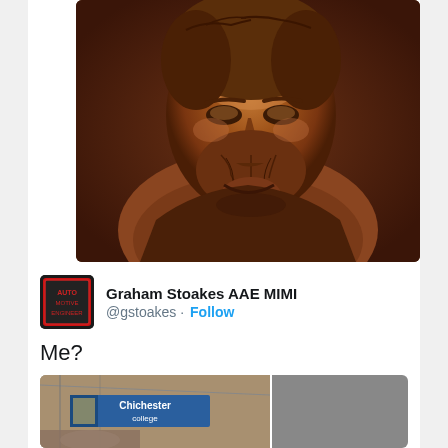[Figure (photo): Bronze relief sculpture of a man with beard and medium-length hair, detailed metallic artwork]
Graham Stoakes AAE MIMI
@gstoakes · Follow
Me?
[Figure (photo): Two-panel image: left shows interior of building with Chichester College banner in blue; right shows workshop with red and yellow machinery/equipment]